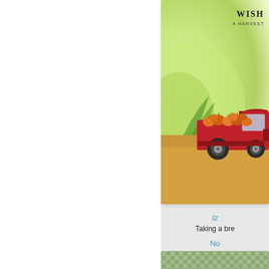[Figure (illustration): A greeting card featuring a red pickup truck loaded with pumpkins and gourds, set against a yellow-orange ground, with a soft green floral/leaf background. Text at top right reads 'WISH' and 'A HARVEST' (partially cropped). The card is shown on a light gray background alongside a white left panel.]
Iz
Taking a bre
No